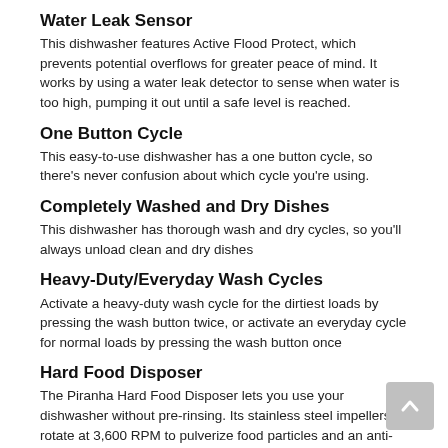Water Leak Sensor
This dishwasher features Active Flood Protect, which prevents potential overflows for greater peace of mind. It works by using a water leak detector to sense when water is too high, pumping it out until a safe level is reached.
One Button Cycle
This easy-to-use dishwasher has a one button cycle, so there's never confusion about which cycle you're using.
Completely Washed and Dry Dishes
This dishwasher has thorough wash and dry cycles, so you'll always unload clean and dry dishes
Heavy-Duty/Everyday Wash Cycles
Activate a heavy-duty wash cycle for the dirtiest loads by pressing the wash button twice, or activate an everyday cycle for normal loads by pressing the wash button once
Hard Food Disposer
The Piranha Hard Food Disposer lets you use your dishwasher without pre-rinsing. Its stainless steel impellers rotate at 3,600 RPM to pulverize food particles and an anti-jamming design make sure wash arms stay